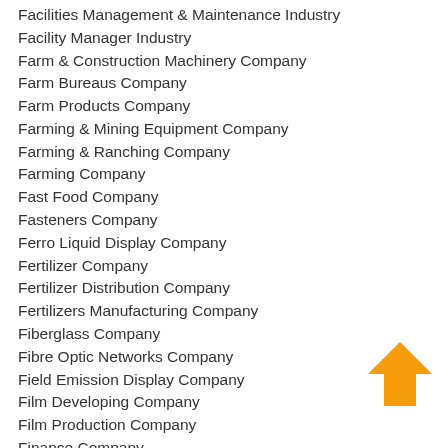Facilities Management & Maintenance Industry
Facility Manager Industry
Farm & Construction Machinery Company
Farm Bureaus Company
Farm Products Company
Farming & Mining Equipment Company
Farming & Ranching Company
Farming Company
Fast Food Company
Fasteners Company
Ferro Liquid Display Company
Fertilizer Company
Fertilizer Distribution Company
Fertilizers Manufacturing Company
Fiberglass Company
Fibre Optic Networks Company
Field Emission Display Company
Film Developing Company
Film Production Company
Finance Company
Financial Methods Company
[Figure (illustration): Orange upward-pointing arrow icon]